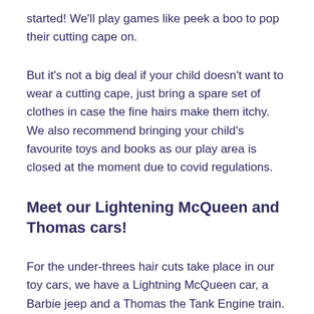started! We'll play games like peek a boo to pop their cutting cape on.
But it's not a big deal if your child doesn't want to wear a cutting cape, just bring a spare set of clothes in case the fine hairs make them itchy. We also recommend bringing your child's favourite toys and books as our play area is closed at the moment due to covid regulations.
Meet our Lightening McQueen and Thomas cars!
For the under-threes hair cuts take place in our toy cars, we have a Lightning McQueen car, a Barbie jeep and a Thomas the Tank Engine train. If a child is stressed at the